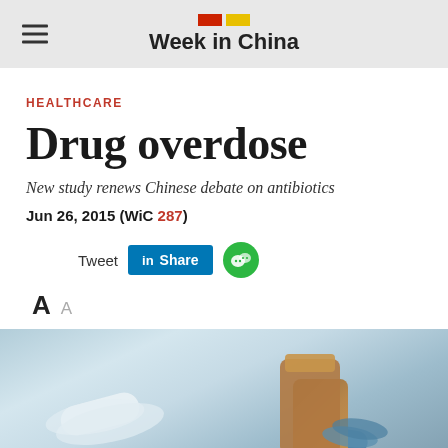Week in China
HEALTHCARE
Drug overdose
New study renews Chinese debate on antibiotics
Jun 26, 2015 (WiC 287)
[Figure (screenshot): Social sharing buttons: Tweet, LinkedIn Share, WeChat]
A  A
[Figure (photo): Close-up photo of pills and medicine bottles on a light blue/grey background]